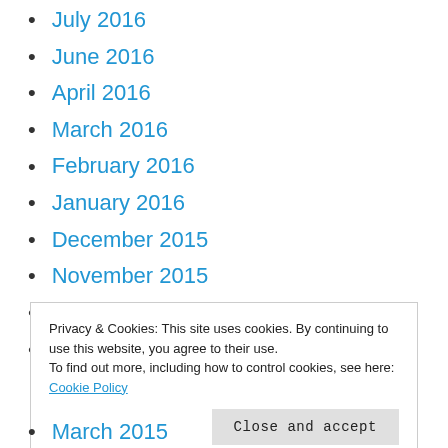July 2016
June 2016
April 2016
March 2016
February 2016
January 2016
December 2015
November 2015
October 2015
September 2015
Privacy & Cookies: This site uses cookies. By continuing to use this website, you agree to their use.
To find out more, including how to control cookies, see here: Cookie Policy
March 2015